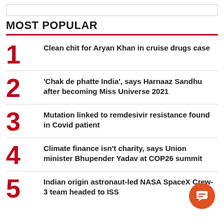MOST POPULAR
Clean chit for Aryan Khan in cruise drugs case
'Chak de phatte India', says Harnaaz Sandhu after becoming Miss Universe 2021
Mutation linked to remdesivir resistance found in Covid patient
Climate finance isn't charity, says Union minister Bhupender Yadav at COP26 summit
Indian origin astronaut-led NASA SpaceX Crew-3 team headed to ISS